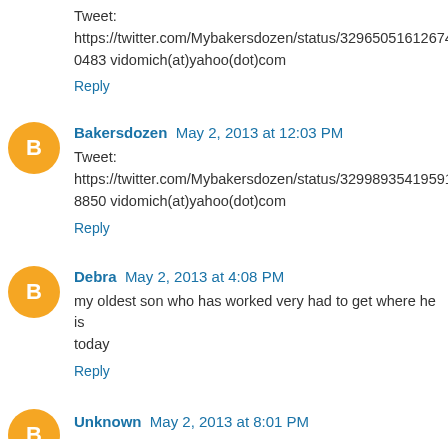Tweet: https://twitter.com/Mybakersdozen/status/329650516126740483 vidomich(at)yahoo(dot)com
Reply
Bakersdozen  May 2, 2013 at 12:03 PM
Tweet: https://twitter.com/Mybakersdozen/status/329989354195918850 vidomich(at)yahoo(dot)com
Reply
Debra  May 2, 2013 at 4:08 PM
my oldest son who has worked very had to get where he is today
Reply
Unknown  May 2, 2013 at 8:01 PM